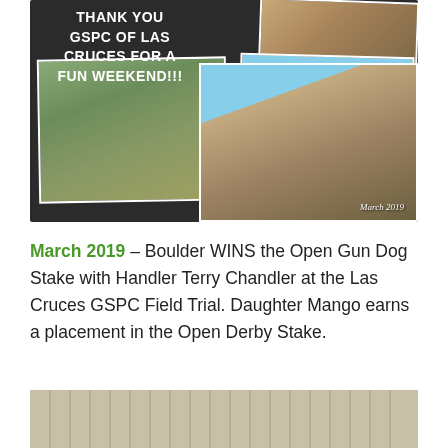[Figure (photo): Photo collage on dark background with text 'THANK YOU GSPC OF LAS CRUCES FOR A FUN WEEKEND!!!' and multiple photos: group of people with a dog near a truck, mountain landscape, person with dog, date 'March 2019']
March 2019 – Boulder WINS the Open Gun Dog Stake with Handler Terry Chandler at the Las Cruces GSPC Field Trial. Daughter Mango earns a placement in the Open Derby Stake.
[Figure (photo): Partial photo at bottom of page showing what appears to be a striped surface or building exterior]